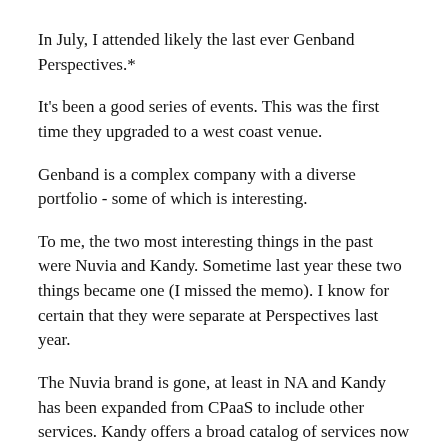In July, I attended likely the last ever Genband Perspectives.*
It's been a good series of events. This was the first time they upgraded to a west coast venue.
Genband is a complex company with a diverse portfolio - some of which is interesting.
To me, the two most interesting things in the past were Nuvia and Kandy. Sometime last year these two things became one (I missed the memo). I know for certain that they were separate at Perspectives last year.
The Nuvia brand is gone, at least in NA and Kandy has been expanded from CPaaS to include other services. Kandy offers a broad catalog of services now organized